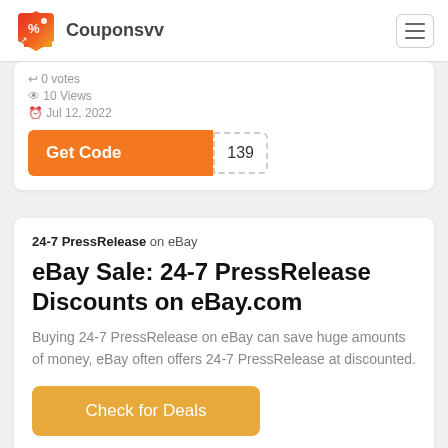Couponsvv
0 votes
10 Views
Jul 12, 2022
Get Code 139
24-7 PressRelease on eBay
eBay Sale: 24-7 PressRelease Discounts on eBay.com
Buying 24-7 PressRelease on eBay can save huge amounts of money, eBay often offers 24-7 PressRelease at discounted.
Check for Deals